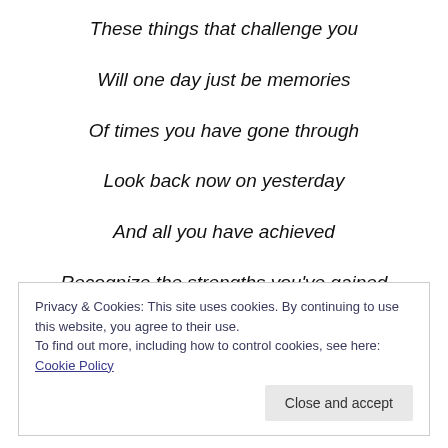These things that challenge you
Will one day just be memories
Of times you have gone through
Look back now on yesterday
And all you have achieved
Recognize the strengths you've gained
Privacy & Cookies: This site uses cookies. By continuing to use this website, you agree to their use.
To find out more, including how to control cookies, see here: Cookie Policy